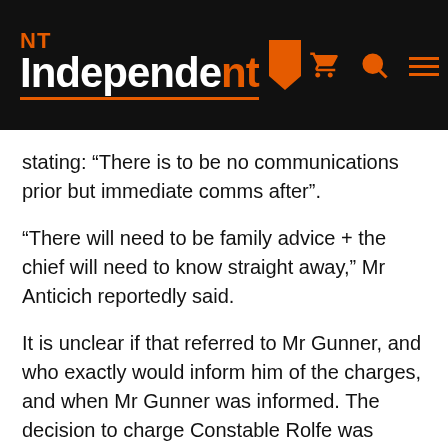NT Independent
stating: “There is to be no communications prior but immediate comms after”.
“There will need to be family advice + the chief will need to know straight away,” Mr Anticich reportedly said.
It is unclear if that referred to Mr Gunner, and who exactly would inform him of the charges, and when Mr Gunner was informed. The decision to charge Constable Rolfe was made a day after Mr Gunner had told the Yuendumu community that “consequences will flow”.